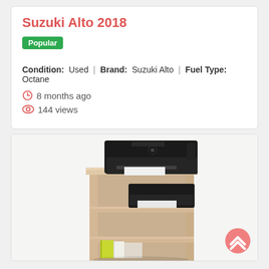Suzuki Alto 2018
Popular
Condition: Used | Brand: Suzuki Alto | Fuel Type: Octane
8 months ago
144 views
[Figure (photo): A wooden multi-shelf bookcase/printer stand unit with a black printer on top and another black device on a middle shelf, and some items on the lower shelf.]